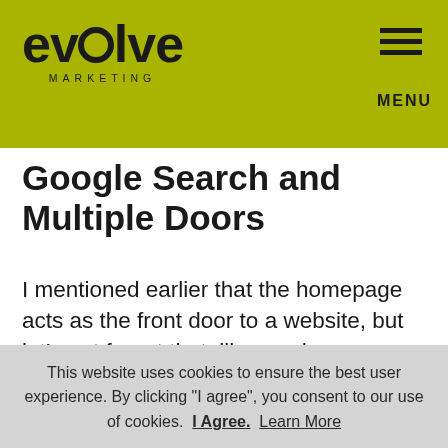evolve MARKETING — MENU
Google Search and Multiple Doors
I mentioned earlier that the homepage acts as the front door to a website, but let’s not forget that, like any home or building, there are usually several ways to get inside—a side door, back door or even through a garage. Think of subpages as those other entryways to your website. Let’s take Google searches for
This website uses cookies to ensure the best user experience. By clicking "I agree", you consent to our use of cookies.  I Agree.  Learn More